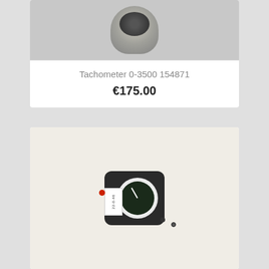[Figure (photo): Partial view of a tachometer gauge instrument, partially cropped at top]
Tachometer 0-3500 154871
€175.00
[Figure (photo): Square-bodied aircraft/instrument tachometer gauge with black housing, white label strip on left side reading product code, circular dial face with dark background and white scale markings, needle, and adjustment knob on the right side]